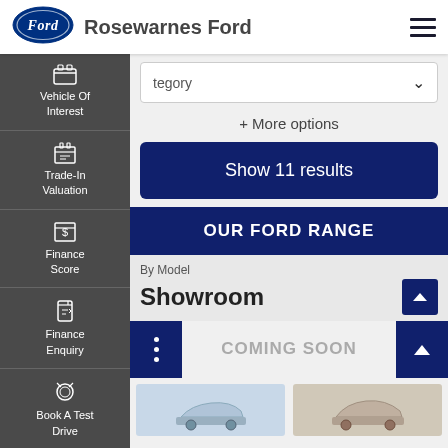[Figure (logo): Ford oval logo in blue and white]
Rosewarnes Ford
Vehicle Of Interest
Trade-In Valuation
Finance Score
Finance Enquiry
Book A Test Drive
Click To Buy
tegory
+ More options
Show 11 results
OUR FORD RANGE
By Model
Showroom
COMING SOON
[Figure (photo): Two car thumbnail images at the bottom of the page]